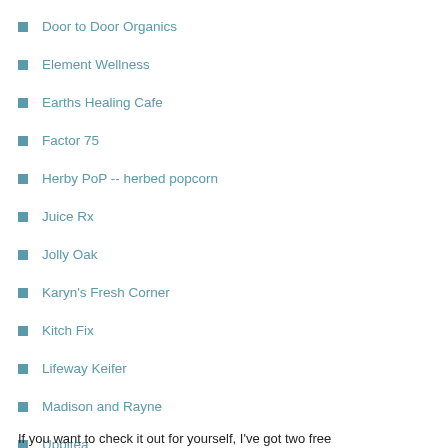Door to Door Organics
Element Wellness
Earths Healing Cafe
Factor 75
Herby PoP -- herbed popcorn
Juice Rx
Jolly Oak
Karyn's Fresh Corner
Kitch Fix
Lifeway Keifer
Madison and Rayne
Uppitea
Whole Foods
If you want to check it out for yourself, I've got two free